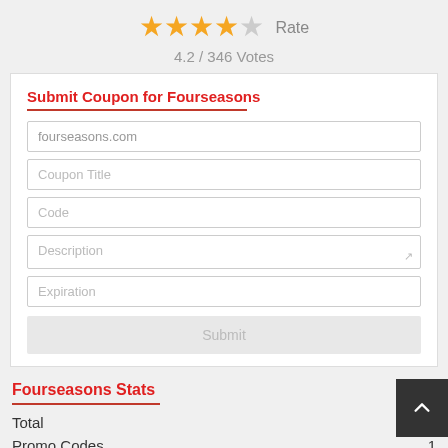[Figure (other): Star rating: 4 filled stars and 1 empty star, with 'Rate' label. 4.2 / 346 Votes below.]
4.2 / 346 Votes
Submit Coupon for Fourseasons
fourseasons.com
Coupon Title
Code
Description
Expiration
Submit
Fourseasons Stats
Total
Promo Codes   1
Deals   21
Max Discount   30%